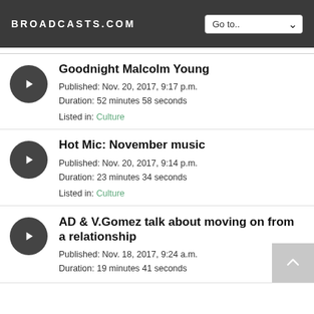BROADCASTS.COM
Goodnight Malcolm Young
Published: Nov. 20, 2017, 9:17 p.m.
Duration: 52 minutes 58 seconds
Listed in: Culture
Hot Mic: November music
Published: Nov. 20, 2017, 9:14 p.m.
Duration: 23 minutes 34 seconds
Listed in: Culture
AD & V.Gomez talk about moving on from a relationship
Published: Nov. 18, 2017, 9:24 a.m.
Duration: 19 minutes 41 seconds